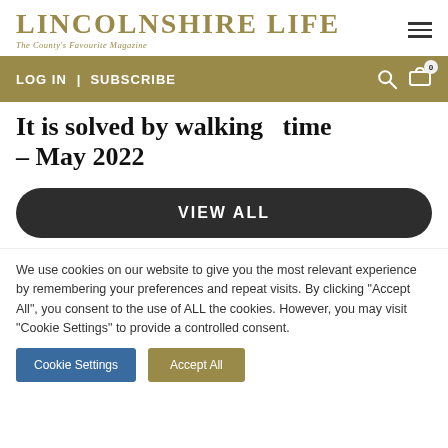LINCOLNSHIRE LIFE — The County's Favourite Magazine
LOG IN | SUBSCRIBE
It is solved by walking time – May 2022
VIEW ALL
We use cookies on our website to give you the most relevant experience by remembering your preferences and repeat visits. By clicking "Accept All", you consent to the use of ALL the cookies. However, you may visit "Cookie Settings" to provide a controlled consent.
Cookie Settings | Accept All